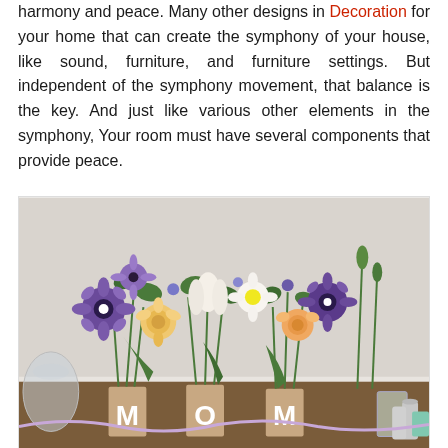harmony and peace. Many other designs in Decoration for your home that can create the symphony of your house, like sound, furniture, and furniture settings. But independent of the symphony movement, that balance is the key. And just like various other elements in the symphony, Your room must have several components that provide peace.
[Figure (photo): A decorative table arrangement featuring floral bouquets with purple, white, and yellow flowers in cylindrical vases with letters on them, set on a table with glassware and other decorative items.]